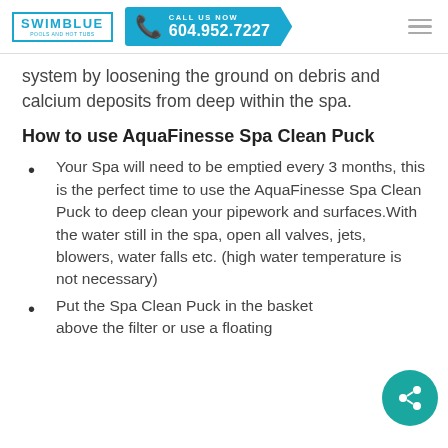SWIMBLUE | CALL US NOW 604.952.7227
system by loosening the ground on debris and calcium deposits from deep within the spa.
How to use AquaFinesse Spa Clean Puck
Your Spa will need to be emptied every 3 months, this is the perfect time to use the AquaFinesse Spa Clean Puck to deep clean your pipework and surfaces.With the water still in the spa, open all valves, jets, blowers, water falls etc. (high water temperature is not necessary)
Put the Spa Clean Puck in the basket above the filter or use a floating